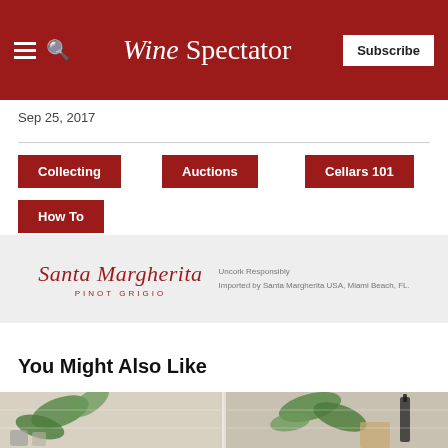Wine Spectator
Sep 25, 2017
Collecting
Auctions
Cellars 101
How To
[Figure (illustration): Santa Margherita Pinot Grigio advertisement banner. Text reads: Santa Margherita PINOT GRIGIO — Uncork Responsibly — Imported by Santa Margherita USA, Miami Beach, FL.]
You Might Also Like
[Figure (photo): Photo strip showing wine bottles, green plants, and kitchen/cellar setting with white tile background and wooden cutting board.]